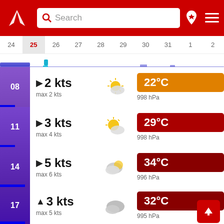[Figure (screenshot): App header with red background, logo, search bar, location pin icon, and hamburger menu]
Search
[Figure (bar-chart): Date selector with activity bars]
08 | 2 kts | max 2 kts | 22°C | 998 hPa
11 | 3 kts | max 4 kts | 29°C | 998 hPa
14 | 5 kts | max 6 kts | 34°C | 996 hPa
17 | 3 kts | max 5 kts | 32°C | 995 hPa
20 | 3 kts | max 8 kts | 28°C | 995 hPa